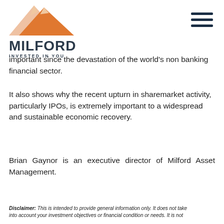MILFORD INVESTED IN YOU
important since the devastation of the world's non banking financial sector.
It also shows why the recent upturn in sharemarket activity, particularly IPOs, is extremely important to a widespread and sustainable economic recovery.
Brian Gaynor is an executive director of Milford Asset Management.
Disclaimer: This is intended to provide general information only. It does not take into account...